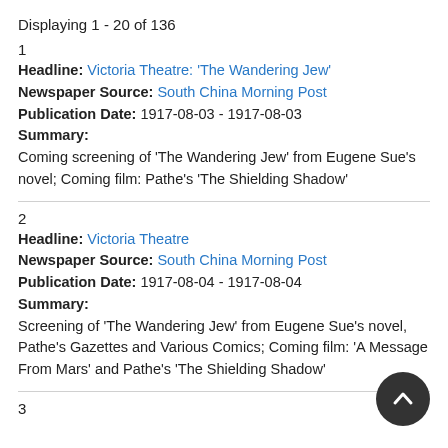Displaying 1 - 20 of 136
1
Headline: Victoria Theatre: 'The Wandering Jew'
Newspaper Source: South China Morning Post
Publication Date: 1917-08-03 - 1917-08-03
Summary:
Coming screening of 'The Wandering Jew' from Eugene Sue's novel; Coming film: Pathe's 'The Shielding Shadow'
2
Headline: Victoria Theatre
Newspaper Source: South China Morning Post
Publication Date: 1917-08-04 - 1917-08-04
Summary:
Screening of 'The Wandering Jew' from Eugene Sue's novel, Pathe's Gazettes and Various Comics; Coming film: 'A Message From Mars' and Pathe's 'The Shielding Shadow'
3